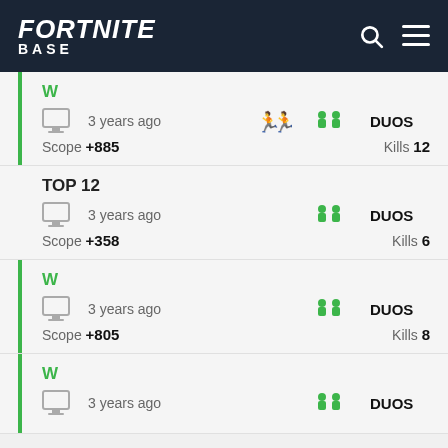FORTNITE BASE
W
3 years ago  DUOS
Scope +885  Kills 12
TOP 12
3 years ago  DUOS
Scope +358  Kills 6
W
3 years ago  DUOS
Scope +805  Kills 8
W
3 years ago  DUOS